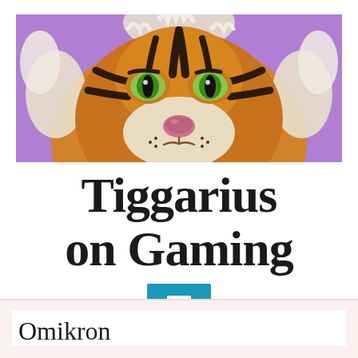[Figure (illustration): Illustrated tiger face with orange and black stripes, green eyes, pink nose, and white fur accents on a purple/lavender background. The tiger is depicted in a frontal close-up, cartoon/digital art style.]
Tiggarius on Gaming
[Figure (other): Blue square menu button with three horizontal white lines (hamburger menu icon)]
Omikron